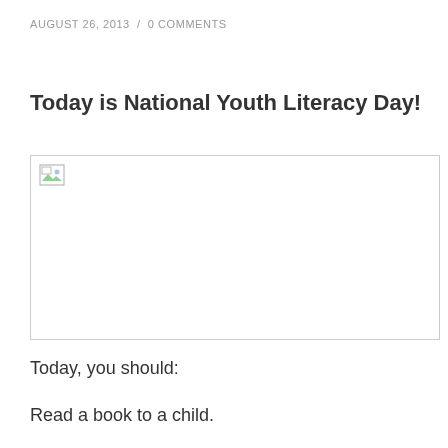AUGUST 26, 2013  /  0 COMMENTS
Today is National Youth Literacy Day!
[Figure (photo): Broken image placeholder — image failed to load, showing broken image icon with border]
Today, you should:
Read a book to a child.